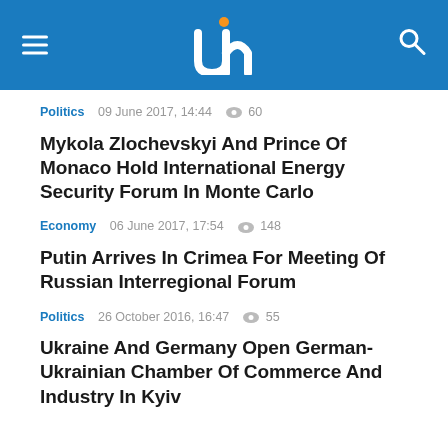UIN news header with logo, hamburger menu, and search icon
Politics   09 June 2017, 14:44  👁 60
Mykola Zlochevskyi And Prince Of Monaco Hold International Energy Security Forum In Monte Carlo
Economy   06 June 2017, 17:54  👁 148
Putin Arrives In Crimea For Meeting Of Russian Interregional Forum
Politics   26 October 2016, 16:47  👁 55
Ukraine And Germany Open German-Ukrainian Chamber Of Commerce And Industry In Kyiv